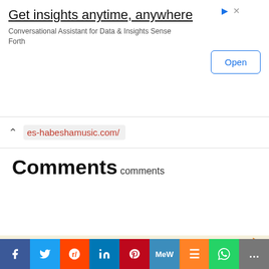[Figure (screenshot): Top advertisement banner: 'Get insights anytime, anywhere' with subtitle 'Conversational Assistant for Data & Insights Sense Forth' and an Open button]
es-habeshamusic.com/
Comments
comments
[Figure (screenshot): Advertisement for 'Proper air circulation is key to plant growth.' with image of industrial pipes/machinery]
[Figure (infographic): Social share bar with icons: Facebook, Twitter, Reddit, LinkedIn, Pinterest, MeWe, Mix, WhatsApp, More]